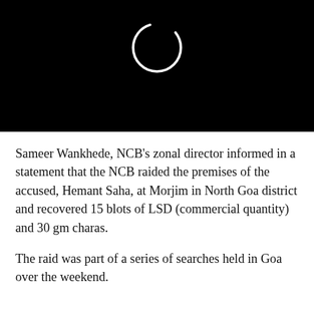[Figure (photo): Black background with a white circle outline (loading spinner or ring icon) centered near the top]
Sameer Wankhede, NCB's zonal director informed in a statement that the NCB raided the premises of the accused, Hemant Saha, at Morjim in North Goa district and recovered 15 blots of LSD (commercial quantity) and 30 gm charas.
The raid was part of a series of searches held in Goa over the weekend.